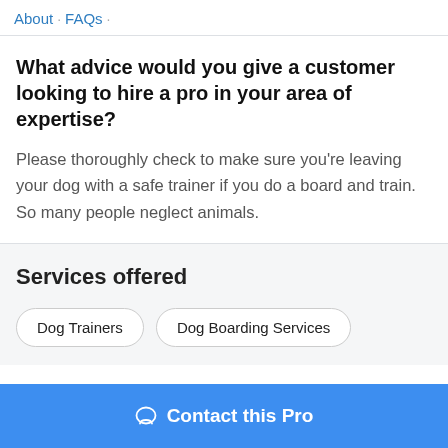About · FAQs ·
What advice would you give a customer looking to hire a pro in your area of expertise?
Please thoroughly check to make sure you're leaving your dog with a safe trainer if you do a board and train. So many people neglect animals.
Services offered
Dog Trainers
Dog Boarding Services
Contact this Pro